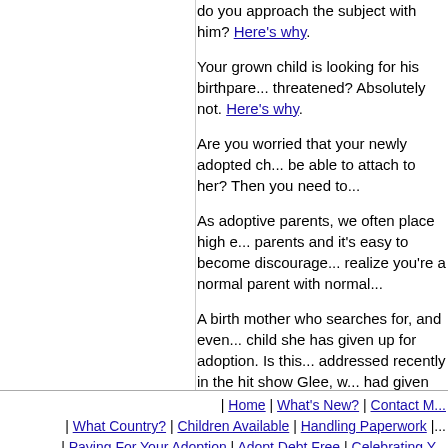do you approach the subject with him? Here's why.
Your grown child is looking for his birthpare... threatened? Absolutely not. Here's why.
Are you worried that your newly adopted ch... be able to attach to her? Then you need to...
As adoptive parents, we often place high e... parents and it's easy to become discourage... realize you're a normal parent with normal...
A birth mother who searches for, and even... child she has given up for adoption. Is this... addressed recently in the hit show Glee, w... had given up her baby for adoption in a pre... she wanted to get her daughter back. Read...
Return from International Adoption New C...
| Home | What's New? | Contact M... | What Country? | Children Available | Handling Paperwork |... | Paying For Your Adoption | Adopt Debt Free | Celebrating Y...